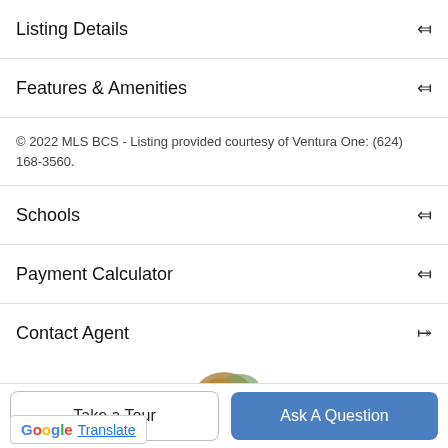Listing Details
Features & Amenities
© 2022 MLS BCS - Listing provided courtesy of Ventura One: (624) 168-3560.
Schools
Payment Calculator
Contact Agent
[Figure (photo): Circular profile photo of a woman, partially visible]
Take a Tour
Ask A Question
Translate